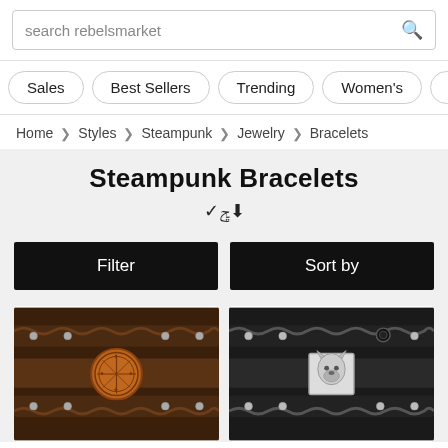search rebelsmarket
Sales  Best Sellers  Trending  Women's  Men's
Home > Styles > Steampunk > Jewelry > Bracelets
Steampunk Bracelets
Filter
Sort by
[Figure (photo): Dark brown leather cuff bracelet with braided edges and a copper compass/vegvisir medallion in the center, with metal studs along the edges.]
[Figure (photo): Black leather cuff bracelet with braided edges and a silver wolf head medallion in the center, with metal studs along the edges.]